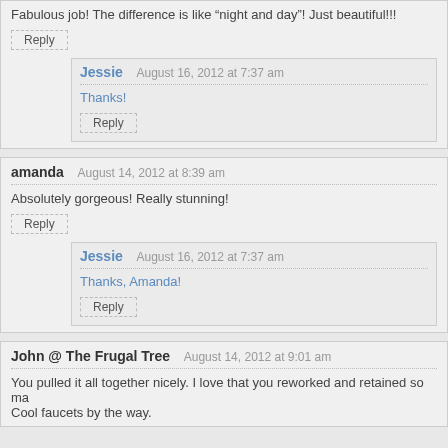Fabulous job! The difference is like “night and day”! Just beautiful!!!
Reply
Jessie   August 16, 2012 at 7:37 am
Thanks!
Reply
amanda   August 14, 2012 at 8:39 am
Absolutely gorgeous! Really stunning!
Reply
Jessie   August 16, 2012 at 7:37 am
Thanks, Amanda!
Reply
John @ The Frugal Tree   August 14, 2012 at 9:01 am
You pulled it all together nicely. I love that you reworked and retained so ma Cool faucets by the way.